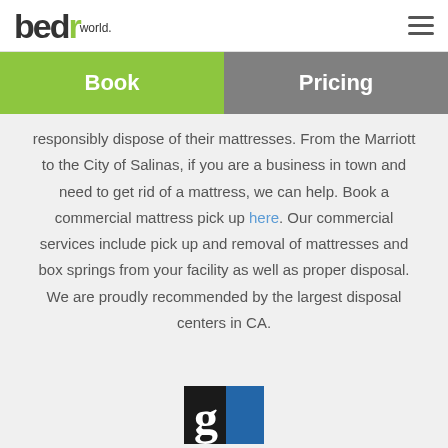bed r world. [hamburger menu]
Book | Pricing
responsibly dispose of their mattresses. From the Marriott to the City of Salinas, if you are a business in town and need to get rid of a mattress, we can help. Book a commercial mattress pick up here. Our commercial services include pick up and removal of mattresses and box springs from your facility as well as proper disposal. We are proudly recommended by the largest disposal centers in CA.
[Figure (logo): Goodwill logo - white G on black background with blue rectangle]